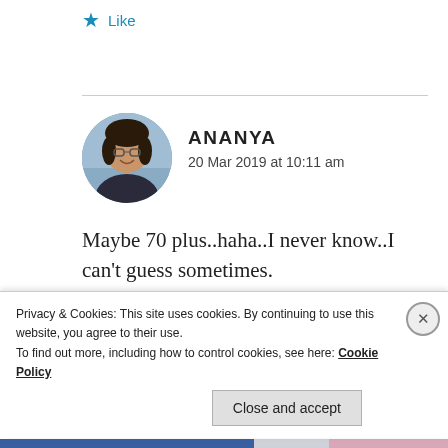Like
[Figure (photo): Round avatar photo of Ananya, a young woman with glasses, smiling, outdoors background]
ANANYA
20 Mar 2019 at 10:11 am
Maybe 70 plus..haha..I never know..I can't guess sometimes.
Privacy & Cookies: This site uses cookies. By continuing to use this website, you agree to their use.
To find out more, including how to control cookies, see here: Cookie Policy
Close and accept